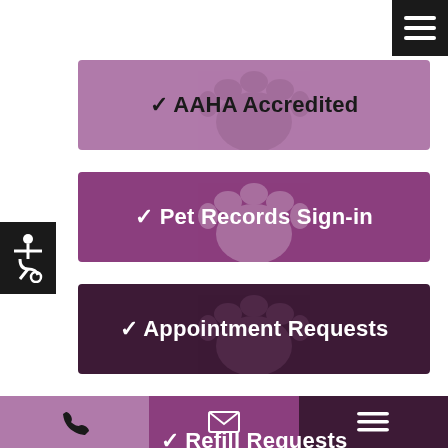[Figure (infographic): Dark hamburger menu button in top-right corner]
✓ AAHA Accredited
✓ Pet Records Sign-in
[Figure (infographic): Wheelchair accessibility icon on left side]
✓ Appointment Requests
✓ Refill Requests
Phone | Email | Menu navigation bar